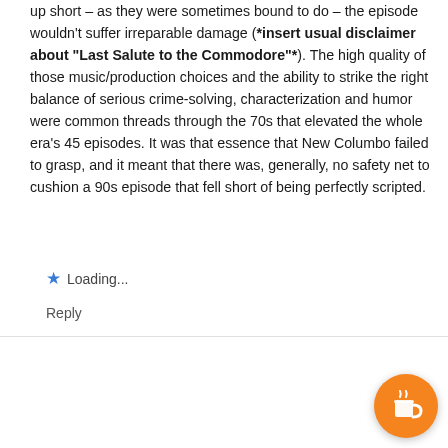up short – as they were sometimes bound to do – the episode wouldn't suffer irreparable damage (**insert usual disclaimer about "Last Salute to the Commodore"**). The high quality of those music/production choices and the ability to strike the right balance of serious crime-solving, characterization and humor were common threads through the 70s that elevated the whole era's 45 episodes. It was that essence that New Columbo failed to grasp, and it meant that there was, generally, no safety net to cushion a 90s episode that fell short of being perfectly scripted.
Loading...
Reply
columbologist  March 21, 2021 at 5:39 pm
I nominate the killing of Freddy Brower as the most brutal murder in "Columbo", especially when you consider how easily somebody can be drowned in a bathtub –> Mark Halperin needed only three, four seconds and his wi… history.
And my award for the most gentle murder with two vict…, who fall asleep and do not suffer at all, goes to Tommy…